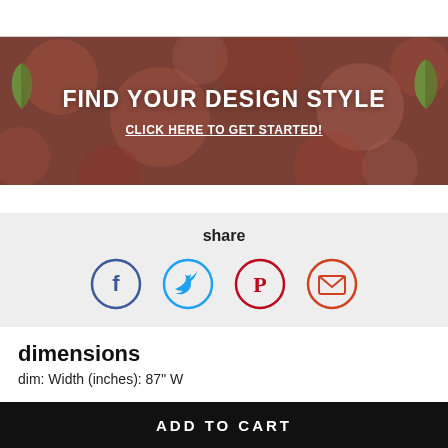[Figure (illustration): Banner with dark reddish-brown bokeh background, green leaf decorations on left and right, white bold text 'FIND YOUR DESIGN STYLE' and underlined subtext 'CLICK HERE TO GET STARTED!']
share
[Figure (infographic): Four social share icon circles: Facebook (blue outline, f), Twitter (light blue outline, bird), Pinterest (red outline, P), Email (red-orange outline, envelope)]
dimensions
dim: Width (inches): 87" W
ADD TO CART